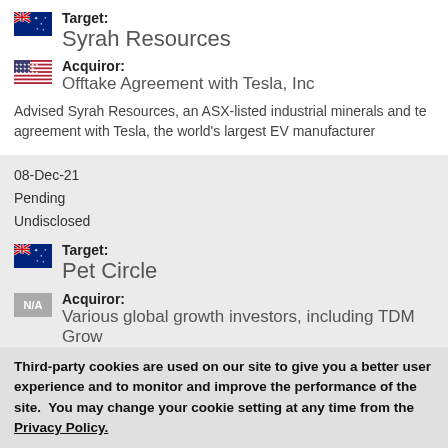Target: Syrah Resources
Acquiror: Offtake Agreement with Tesla, Inc
Advised Syrah Resources, an ASX-listed industrial minerals and te... agreement with Tesla, the world's largest EV manufacturer
08-Dec-21
Pending
Undisclosed
Target: Pet Circle
Acquiror: Various global growth investors, including TDM Grow...
Advising Pet Circle, Australia's leading online specialty pet comp...
Third-party cookies are used on our site to give you a better user experience and to monitor and improve the performance of the site.  You may change your cookie setting at any time from the Privacy Policy.